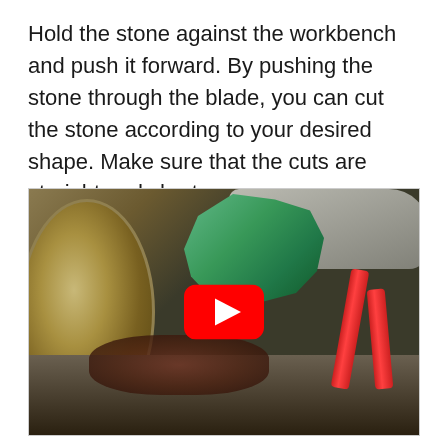Hold the stone against the workbench and push it forward. By pushing the stone through the blade, you can cut the stone according to your desired shape. Make sure that the cuts are straight and short.
[Figure (photo): A person wearing a grey glove holds a green stone against a circular blade on a workbench/lapidary machine. The machine has red handles and debris underneath the blade. A YouTube play button overlay is visible in the center of the image.]